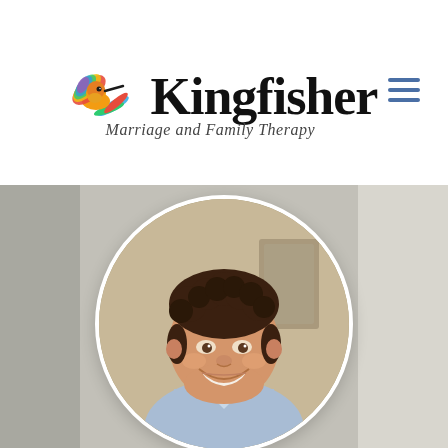[Figure (logo): Kingfisher Marriage and Family Therapy logo with colorful hummingbird illustration above the text 'Kingfisher' in bold serif font, with subtitle 'Marriage and Family Therapy' in italic script below]
[Figure (photo): Circular cropped headshot photo of a smiling man with curly dark hair wearing a light blue shirt, photographed in a professional setting with blurred background]